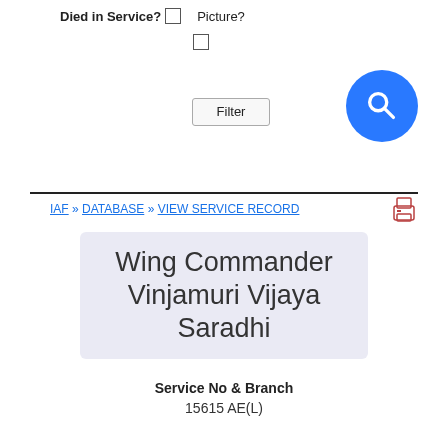Died in Service? [ ]  Picture? [ ]
Filter
IAF » DATABASE » VIEW SERVICE RECORD
Wing Commander Vinjamuri Vijaya Saradhi
Service No & Branch
15615 AE(L)
No Image Available
Date of Birth: -- --- ----
Commissioned: 01 Jan 1979